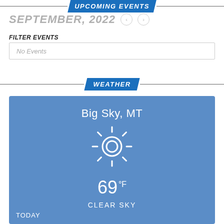UPCOMING EVENTS
SEPTEMBER, 2022
FILTER EVENTS
No Events
WEATHER
[Figure (infographic): Weather widget showing Big Sky, MT with a sun icon, temperature 69°F, and CLEAR SKY condition. TODAY label at bottom left.]